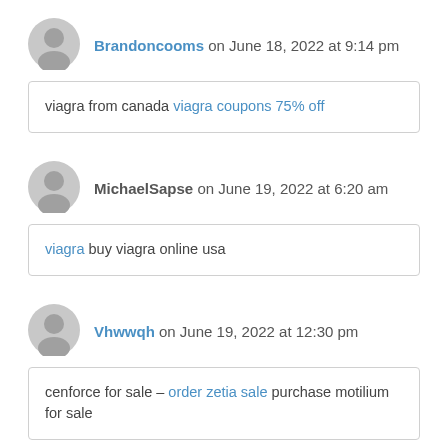Brandoncooms on June 18, 2022 at 9:14 pm
viagra from canada viagra coupons 75% off
MichaelSapse on June 19, 2022 at 6:20 am
viagra buy viagra online usa
Vhwwqh on June 19, 2022 at 12:30 pm
cenforce for sale – order zetia sale purchase motilium for sale